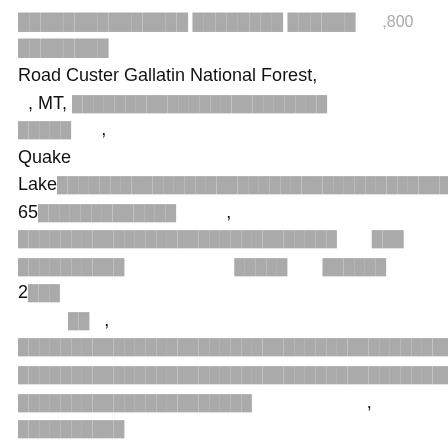Road Custer Gallatin National Forest, , MT, [garbled text] [garbled] , Quake Lake[garbled text] 65[garbled] , [garbled text] [garbled] [garbled text] [garbled] [garbled] 2[garbled] [garbled] , [garbled text] [garbled text] , [garbled] Earthquake Lake[garbled] , [garbled] [garbled text] , Back Country Snowmobile Adventures [garbled] . From 108 Hebgen Lake attractions, Yelp helps you discover ... Water is cold, as all MT lakes are. Popular Lake Fishing Charters in Montana. Hebgen Lake, West Yellowstone: zobacz recenzje, artykuły i zdjęcia dotyczące Hebgen Lake w